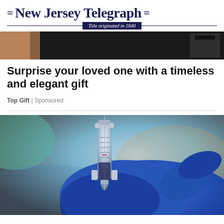New Jersey Telegraph — Title originated in 1840
[Figure (photo): Top partial image strip showing dark background with brownish edge — partial view of a TV or monitor]
Surprise your loved one with a timeless and elegant gift
Top Gift | Sponsored
[Figure (photo): Close-up photo of a medical syringe with a blue-gloved hand holding it against a blurred background]